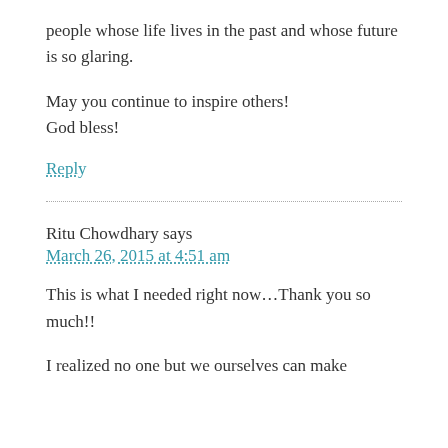people whose life lives in the past and whose future is so glaring.
May you continue to inspire others! God bless!
Reply
Ritu Chowdhary says
March 26, 2015 at 4:51 am
This is what I needed right now…Thank you so much!!
I realized no one but we ourselves can make